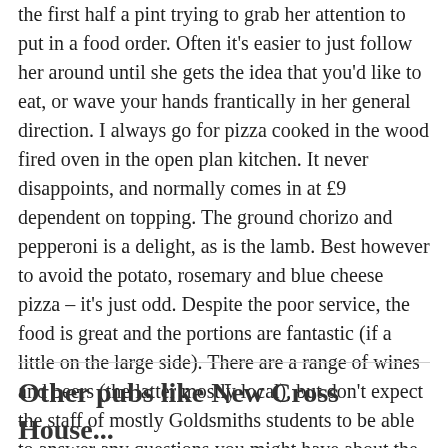the first half a pint trying to grab her attention to put in a food order. Often it's easier to just follow her around until she gets the idea that you'd like to eat, or wave your hands frantically in her general direction. I always go for pizza cooked in the wood fired oven in the open plan kitchen. It never disappoints, and normally comes in at £9 dependent on topping. The ground chorizo and pepperoni is a delight, as is the lamb. Best however to avoid the potato, rosemary and blue cheese pizza – it's just odd. Despite the poor service, the food is great and the portions are fantastic (if a little on the large side). There are a range of wines and beers (the latter mostly local), but don't expect the staff of mostly Goldsmiths students to be able to answer any questions you might have about the wine list. New Cross needs a pub like this, and New Cross House delivers well.
Other pubs like New Cross House...